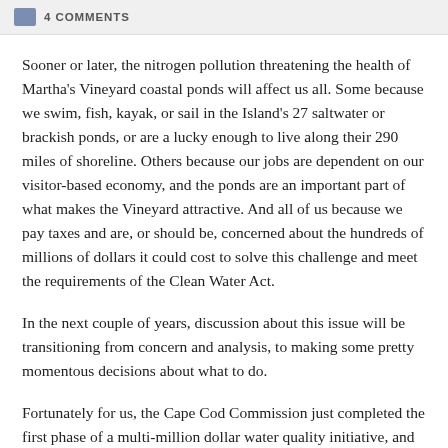4 COMMENTS
Sooner or later, the nitrogen pollution threatening the health of Martha's Vineyard coastal ponds will affect us all. Some because we swim, fish, kayak, or sail in the Island's 27 saltwater or brackish ponds, or are a lucky enough to live along their 290 miles of shoreline. Others because our jobs are dependent on our visitor-based economy, and the ponds are an important part of what makes the Vineyard attractive. And all of us because we pay taxes and are, or should be, concerned about the hundreds of millions of dollars it could cost to solve this challenge and meet the requirements of the Clean Water Act.
In the next couple of years, discussion about this issue will be transitioning from concern and analysis, to making some pretty momentous decisions about what to do.
Fortunately for us, the Cape Cod Commission just completed the first phase of a multi-million dollar water quality initiative, and